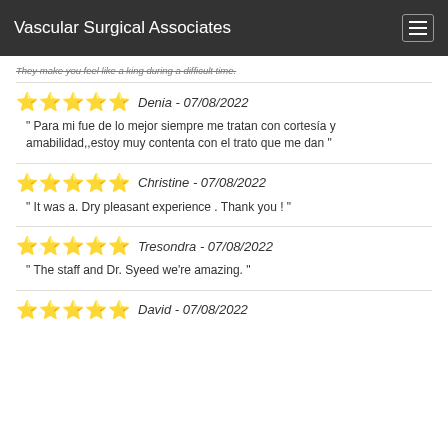Vascular Surgical Associates
They make you feel like a king during a difficult time.
Denia - 07/08/2022
" Para mi fue de lo mejor siempre me tratan con cortesía y amabilidad,,estoy muy contenta con el trato que me dan "
Christine - 07/08/2022
" It was a. Dry pleasant experience . Thank you ! "
Tresondra - 07/08/2022
" The staff and Dr. Syeed we're amazing. "
David - 07/08/2022